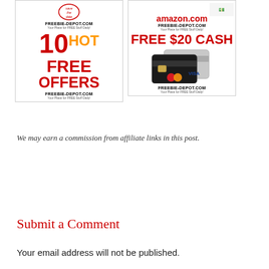[Figure (illustration): Two Freebie-Depot.com advertisement banners side by side. Left banner: '10 HOT FREE OFFERS FREEBIE-DEPOT.COM Your Place for FREE Stuff Daily!' with large red and orange text. Right banner: amazon.com FREE $20 CASH promotion with credit card images and FREEBIE-DEPOT.COM branding.]
We may earn a commission from affiliate links in this post.
Submit a Comment
Your email address will not be published.